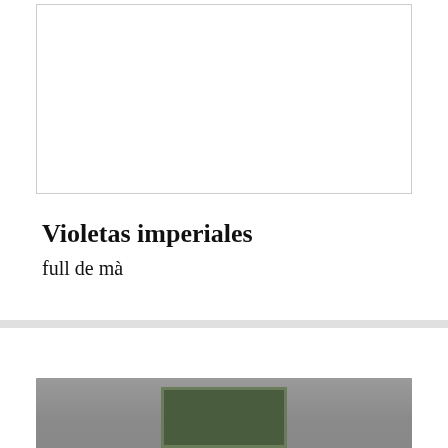[Figure (other): White rectangular image placeholder with a light gray border, mostly blank/white content area]
Violetas imperiales
full de mà
[Figure (photo): Partial photo visible at bottom of page showing a gray background with a small green framed item centered near the bottom]